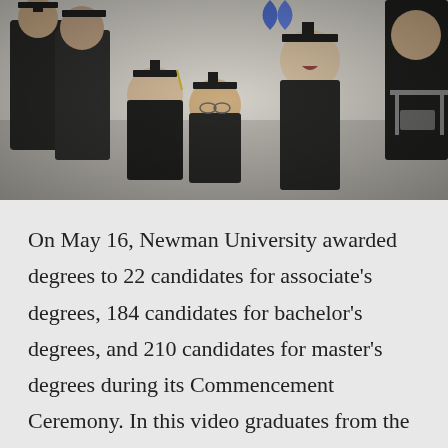[Figure (photo): Group of university graduates in black caps and gowns posing and smiling at commencement ceremony]
On May 16, Newman University awarded degrees to 22 candidates for associate's degrees, 184 candidates for bachelor's degrees, and 210 candidates for master's degrees during its Commencement Ceremony. In this video graduates from the class of 2015 reflect on some of their favorite aspects of Newman University.
Published June 4, 2015